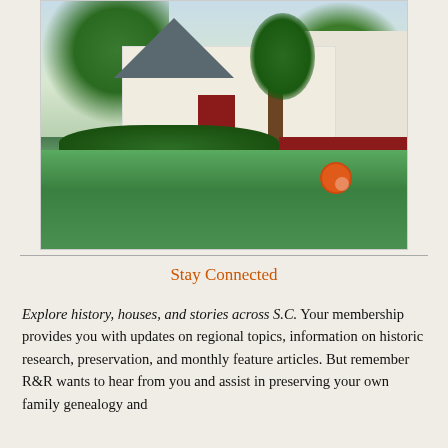[Figure (photo): Photograph of a white historic house with a red door, surrounded by trees and green lawn, with an orange map marker pin overlay in the lower right area of the image.]
Stay Connected
Explore history, houses, and stories across S.C. Your membership provides you with updates on regional topics, information on historic research, preservation, and monthly feature articles. But remember R&R wants to hear from you and assist in preserving your own family genealogy and